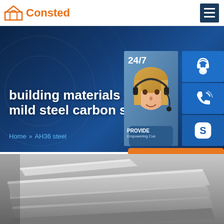Consted
building materials a... mild steel carbon ste...
Home » AH36 steel
[Figure (photo): Customer support representative wearing headset, with 24/7 service widget panel showing headset icon, phone icon, and Skype icon buttons, plus an orange 'online live' button]
[Figure (photo): Stack of mild steel carbon steel plates/sheets, gray metallic surface, product photo]